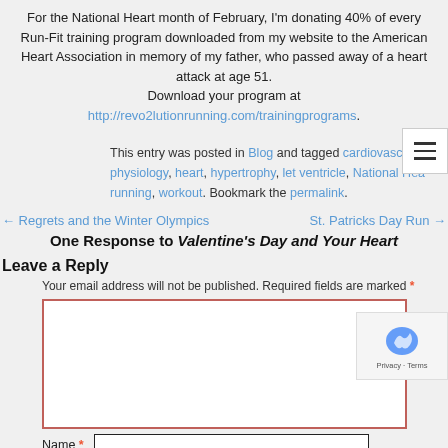For the National Heart month of February, I'm donating 40% of every Run-Fit training program downloaded from my website to the American Heart Association in memory of my father, who passed away of a heart attack at age 51. Download your program at http://revo2lutionrunning.com/trainingprograms.
This entry was posted in Blog and tagged cardiovascular, physiology, heart, hypertrophy, let ventricle, National Hea running, workout. Bookmark the permalink.
← Regrets and the Winter Olympics    St. Patricks Day Run →
One Response to Valentine's Day and Your Heart
Leave a Reply
Your email address will not be published. Required fields are marked *
Name *
Email input field